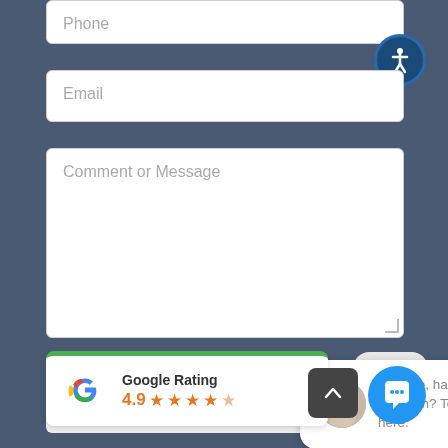[Figure (screenshot): Web contact form showing Phone and Email input fields, a Comment or Message textarea, an accessibility icon, a close button, a reCAPTCHA checkbox, a live chat bubble with avatar saying 'Hi there, have a question? Text us here.', a Google Rating widget showing 4.9 stars, a scroll-up button, and a chat icon button.]